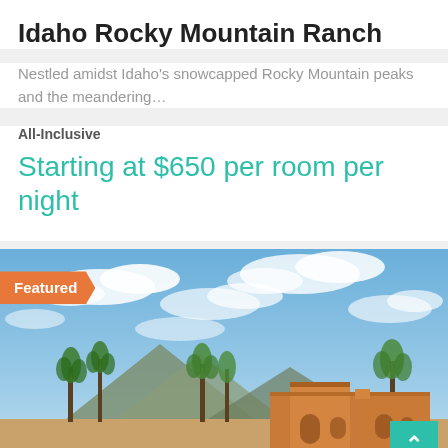Idaho Rocky Mountain Ranch
Nestled amidst Idaho's snowcapped Rocky Mountain peaks and the meandering…
All-Inclusive
Starting at $650 per room per night
[Figure (photo): Featured badge with orange chevron shape over a landscape photo showing a Southwestern-style adobe building with palm trees and mountains under a partly cloudy blue sky. A teal scroll-to-top button is in the bottom right corner.]